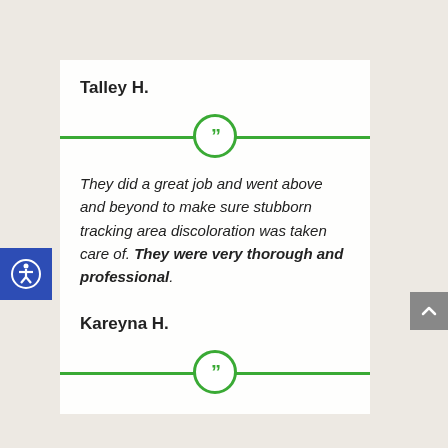Talley H.
They did a great job and went above and beyond to make sure stubborn tracking area discoloration was taken care of. They were very thorough and professional.
Kareyna H.